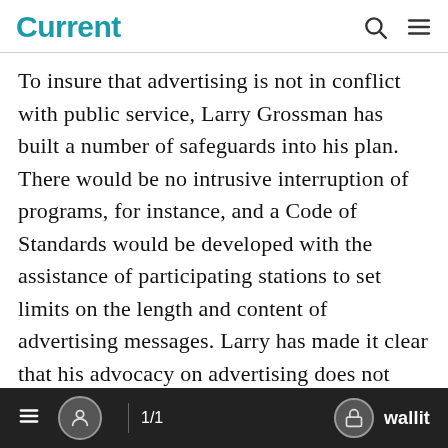Current
To insure that advertising is not in conflict with public service, Larry Grossman has built a number of safeguards into his plan. There would be no intrusive interruption of programs, for instance, and a Code of Standards would be developed with the assistance of participating stations to set limits on the length and content of advertising messages. Larry has made it clear that his advocacy on advertising does not extend to children's, educational or public-
1/1   wallit